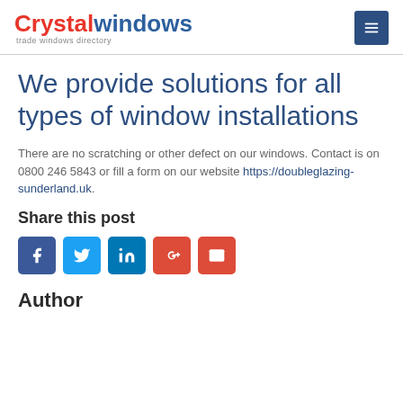Crystalwindows trade windows directory
We provide solutions for all types of window installations
There are no scratching or other defect on our windows. Contact is on 0800 246 5843 or fill a form on our website https://doubleglazing-sunderland.uk.
Share this post
[Figure (infographic): Row of five social media sharing buttons: Facebook (dark blue), Twitter (light blue), LinkedIn (dark blue), Google+ (red-orange), Email (red-orange)]
Author